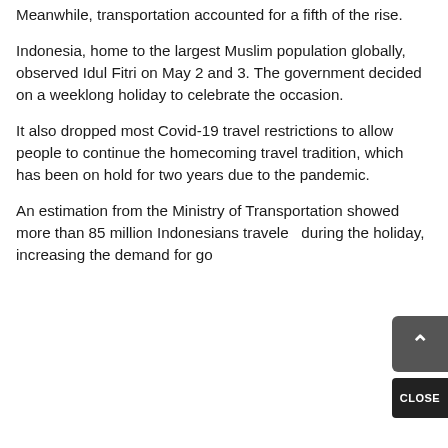Meanwhile, transportation accounted for a fifth of the rise.
Indonesia, home to the largest Muslim population globally, observed Idul Fitri on May 2 and 3. The government decided on a weeklong holiday to celebrate the occasion.
It also dropped most Covid-19 travel restrictions to allow people to continue the homecoming travel tradition, which has been on hold for two years due to the pandemic.
An estimation from the Ministry of Transportation showed more than 85 million Indonesians traveled during the holiday, increasing the demand for go...